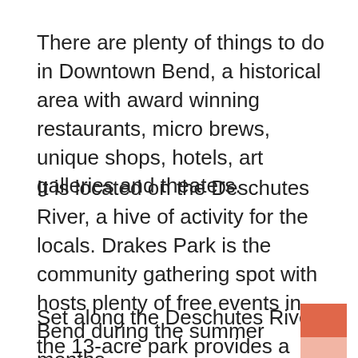There are plenty of things to do in Downtown Bend, a historical area with award winning restaurants, micro brews, unique shops, hotels, art galleries and theaters.
It is located on the Deschutes River, a hive of activity for the locals. Drakes Park is the community gathering spot with hosts plenty of free events in Bend during the summer months.
Set along the Deschutes River, the 13-acre park provides a half-mile stretch of public river access. The river here widens, creating a placid stretch of water named Mirror Pond.